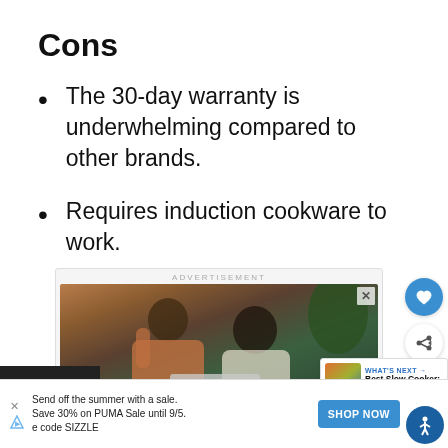Cons
The 30-day warranty is underwhelming compared to other brands.
Requires induction cookware to work.
[Figure (photo): Advertisement banner showing a man and a child in front of a laptop, with an ADVERTISEMENT label above and a close button.]
ADVERTISEMENT
[Figure (infographic): What's Next panel showing a thumbnail and text 'Best Slow Cooker: Our...' with a blue arrow label 'WHAT'S NEXT'.]
Send off the summer with a sale. Save 30% on PUMA Sale until 9/5. Use code SIZZLE
SHOP NOW